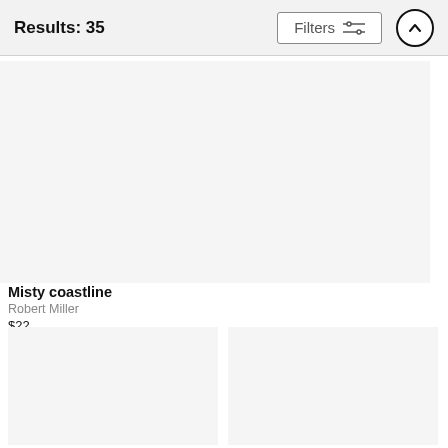Results: 35
Misty coastline
Robert Miller
$22
Rock spire r...
Robert Miller
$22
Panorama of rock formations in Arches National P...
Robert Miller
$22